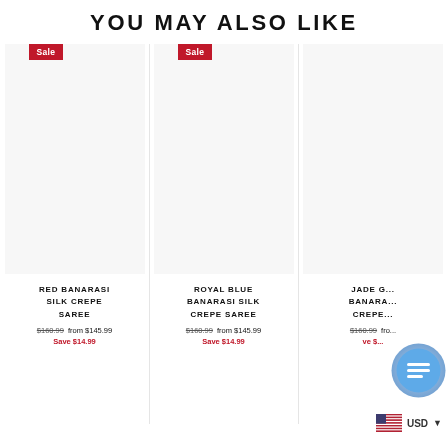YOU MAY ALSO LIKE
[Figure (other): Product listing card for Red Banarasi Silk Crepe Saree with Sale badge, showing product image area and pricing]
RED BANARASI SILK CREPE SAREE
$160.99  from $145.99
Save $14.99
[Figure (other): Product listing card for Royal Blue Banarasi Silk Crepe Saree with Sale badge, showing product image area and pricing]
ROYAL BLUE BANARASI SILK CREPE SAREE
$160.99  from $145.99
Save $14.99
[Figure (other): Partially visible product listing card for Jade Banarasi Silk Crepe Saree with pricing, partially obscured by chat widget]
JADE G... BANARA... CREPE...
$160.99  fro...
ve $...
[Figure (other): Chat support widget bubble (blue circle with lines icon) overlapping the third product card]
USD